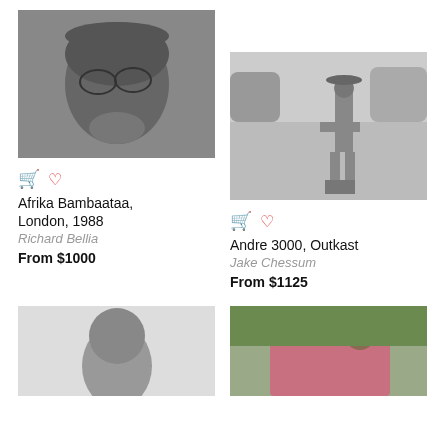[Figure (photo): Black and white close-up portrait of Afrika Bambaataa wearing glasses and a knit hat, resting hand near chin]
[Figure (photo): Black and white photo of Andre 3000 from Outkast sitting outdoors on a case, wearing a cowboy hat and wide-leg pants]
Afrika Bambaataa, London, 1988
Richard Bellia
From $1000
Andre 3000, Outkast
Jake Chessum
From $1125
[Figure (photo): Black and white portrait of a young man, partially visible, white background]
[Figure (photo): Color photo of a man wearing a hat and patterned jacket outdoors]